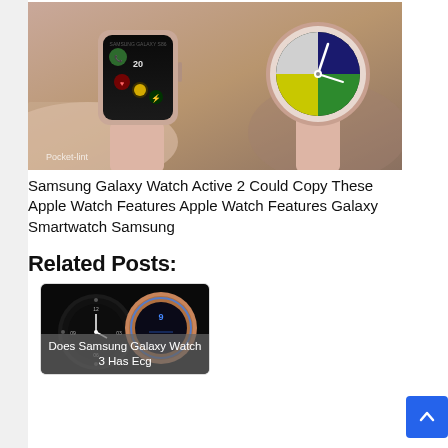[Figure (photo): Two smartwatches side by side — an Apple Watch (square, dark face with colorful complications) on the left and a Samsung Galaxy Watch (round, colorful clock face) on the right, both with pink/rose gold bands. Pocket-lint watermark visible.]
Samsung Galaxy Watch Active 2 Could Copy These Apple Watch Features Apple Watch Features Galaxy Smartwatch Samsung
Related Posts:
[Figure (photo): Two Samsung Galaxy smartwatches — one classic dark with a rotating bezel and one rose gold with blue accent — on a dark background.]
Does Samsung Galaxy Watch 3 Has Ecg